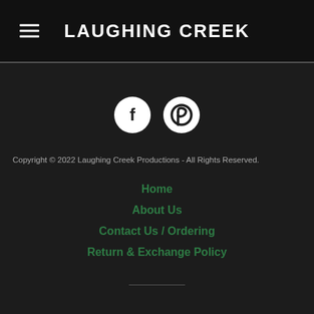LAUGHING CREEK
[Figure (illustration): Two circular social media icons on dark background: Facebook (f) and Pinterest (P) icons, white on dark circles]
Copyright © 2022 Laughing Creek Productions  - All Rights Reserved.
Home
About Us
Contact Us / Ordering
Return & Exchange Policy